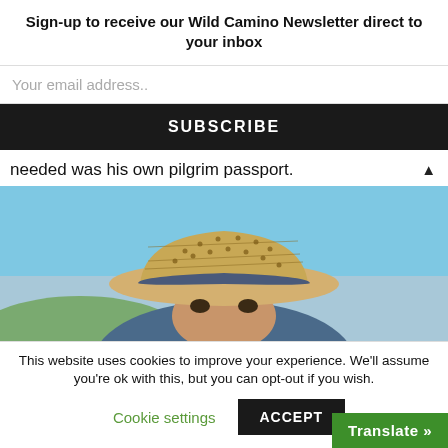Sign-up to receive our Wild Camino Newsletter direct to your inbox
Your email address..
SUBSCRIBE
needed was his own pilgrim passport.
[Figure (photo): Person wearing a straw/wicker hat with a dark band, photographed from below against a clear blue sky. Only the top of the face visible under the brim of the hat.]
This website uses cookies to improve your experience. We'll assume you're ok with this, but you can opt-out if you wish.
Cookie settings
ACCEPT
Translate »